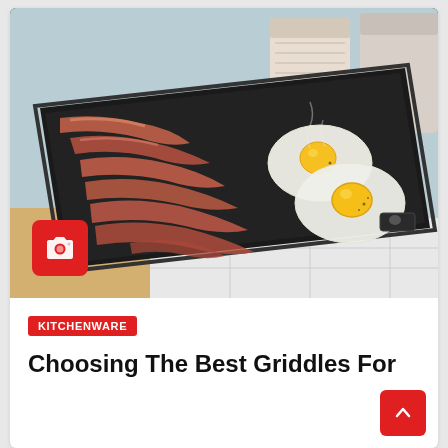[Figure (photo): A black electric griddle with strips of bacon on the left side and two sunny-side up fried eggs on the right side, photographed from above at an angle. A red camera badge icon is overlaid in the lower-left corner of the image.]
KITCHENWARE
Choosing The Best Griddles For